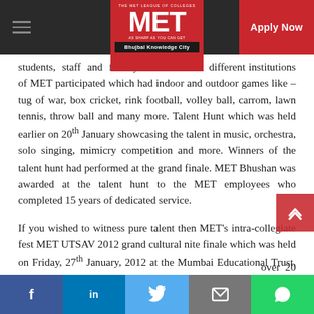MET League of Colleges — Apply Now
students, staff and faculty from the 14 different institutions of MET participated which had indoor and outdoor games like – tug of war, box cricket, rink football, volley ball, carrom, lawn tennis, throw ball and many more. Talent Hunt which was held earlier on 20th January showcasing the talent in music, orchestra, solo singing, mimicry competition and more. Winners of the talent hunt had performed at the grand finale. MET Bhushan was awarded at the talent hunt to the MET employees who completed 15 years of dedicated service.
If you wished to witness pure talent then MET's intra-collegiate fest MET UTSAV 2012 grand cultural nite finale which was held on Friday, 27th January, 2012 at the Mumbai Educational Trust, Bhujbal Knowledge City, Bandra (W), Mumbai - 50. The ... urage the ... over 20
Facebook | LinkedIn | Twitter | Email | WhatsApp